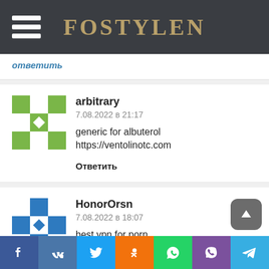FOSTYLEN
ответить
arbitrary
7.08.2022 в 21:17
generic for albuterol https://ventolinotc.com
Ответить
HonorOrsn
7.08.2022 в 18:07
best vpn for porn
kroger vpn
Facebook VK Twitter Odnoklassniki WhatsApp Viber Telegram